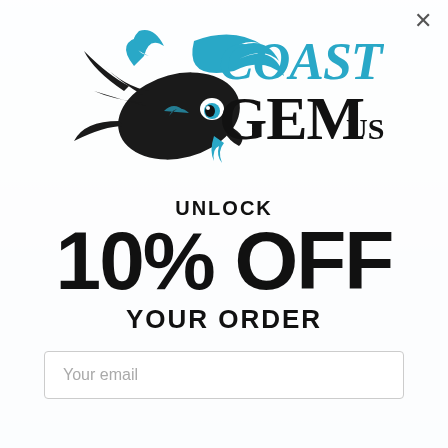[Figure (logo): Coast Gem USA logo featuring a decorative fish with blue and black swirling design, with 'COAST' in teal lettering and 'GEM' in large black letters with 'USA' smaller]
UNLOCK 10% OFF YOUR ORDER
Your email